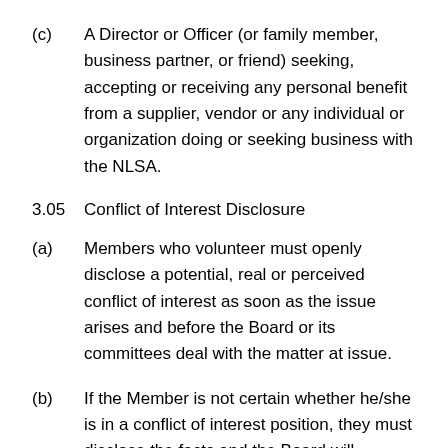(c) A Director or Officer (or family member, business partner, or friend) seeking, accepting or receiving any personal benefit from a supplier, vendor or any individual or organization doing or seeking business with the NLSA.
3.05 Conflict of Interest Disclosure
(a) Members who volunteer must openly disclose a potential, real or perceived conflict of interest as soon as the issue arises and before the Board or its committees deal with the matter at issue.
(b) If the Member is not certain whether he/she is in a conflict of interest position, they must disclose the facts and the Board will determine by majority vote if a conflict exists.
3.06 ...